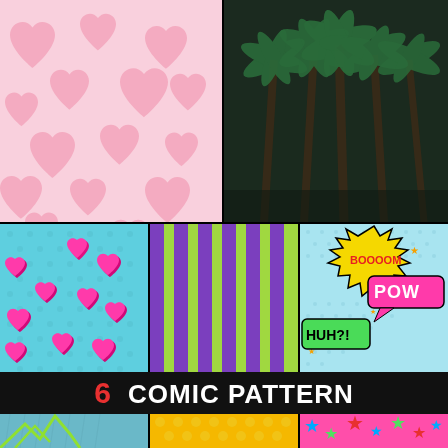[Figure (illustration): Pink hearts pattern on light pink background]
[Figure (photo): Dark tropical palm trees against near-black background]
[Figure (illustration): Pink 3D hearts on cyan/teal polka dot background]
[Figure (illustration): Green and purple vertical stripes pattern]
[Figure (illustration): Comic pop-art pattern with BOOOOM, POW, HUH?! text on light blue dotted background]
6 COMIC PATTERN
[Figure (illustration): Green bat/bird silhouette on blue-grey rainy background]
[Figure (illustration): Yellow background with yellow polka dots]
[Figure (illustration): Pink background with multicolor stars]